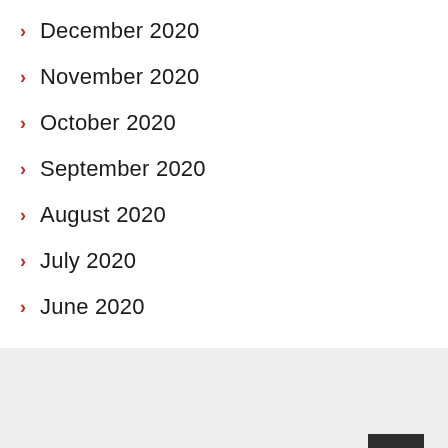December 2020
November 2020
October 2020
September 2020
August 2020
July 2020
June 2020